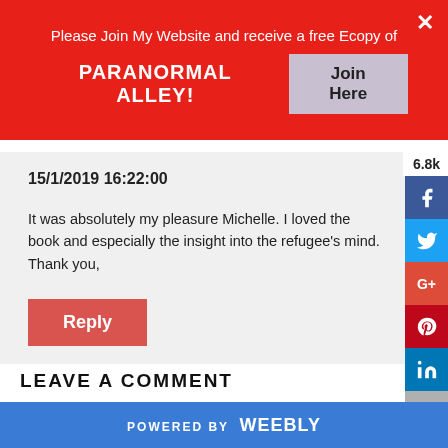Please Join My Website and receive a free Ecopy of PARANORMAL ALLEY! Join Here
15/1/2019 16:22:00
It was absolutely my pleasure Michelle. I loved the book and especially the insight into the refugee's mind. Thank you,
Reply
6.8k
LEAVE A COMMENT
NAME (REQUIRED)
POWERED BY weebly